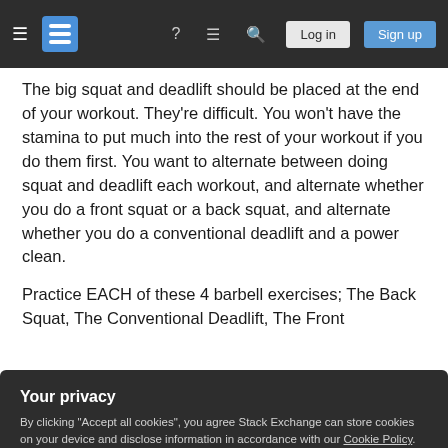Stack Exchange navigation bar with hamburger menu, logo, help, chat, search icons, Log in and Sign up buttons
The big squat and deadlift should be placed at the end of your workout. They're difficult. You won't have the stamina to put much into the rest of your workout if you do them first. You want to alternate between doing squat and deadlift each workout, and alternate whether you do a front squat or a back squat, and alternate whether you do a conventional deadlift and a power clean.
Practice EACH of these 4 barbell exercises; The Back Squat, The Conventional Deadlift, The Front
Your privacy
By clicking "Accept all cookies", you agree Stack Exchange can store cookies on your device and disclose information in accordance with our Cookie Policy.
Accept all cookies    Customize settings
ULTRA SLOW REPS meaning as slow as possible.